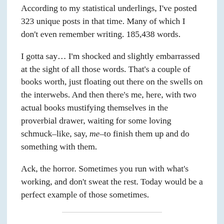According to my statistical underlings, I've posted 323 unique posts in that time. Many of which I don't even remember writing. 185,438 words.
I gotta say… I'm shocked and slightly embarrassed at the sight of all those words. That's a couple of books worth, just floating out there on the swells on the interwebs. And then there's me, here, with two actual books mustifying themselves in the proverbial drawer, waiting for some loving schmuck–like, say, me–to finish them up and do something with them.
Ack, the horror. Sometimes you run with what's working, and don't sweat the rest. Today would be a perfect example of those sometimes.
Welcome to the inaugural edition of